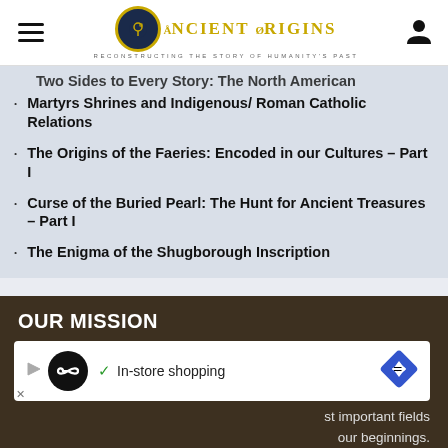Ancient Origins — Reconstructing the story of humanity's past
Two Sides to Every Story: The North American Martyrs Shrines and Indigenous/ Roman Catholic Relations
The Origins of the Faeries: Encoded in our Cultures – Part I
Curse of the Buried Pearl: The Hunt for Ancient Treasures – Part I
The Enigma of the Shugborough Inscription
OUR MISSION
[Figure (screenshot): Advertisement banner: infinity symbol icon, checkmark, In-store shopping text, navigation arrow icon]
st important fields our beginnings. And while some people may seem content with the story as it stands, our view is that there exist countless mysteries, scientific